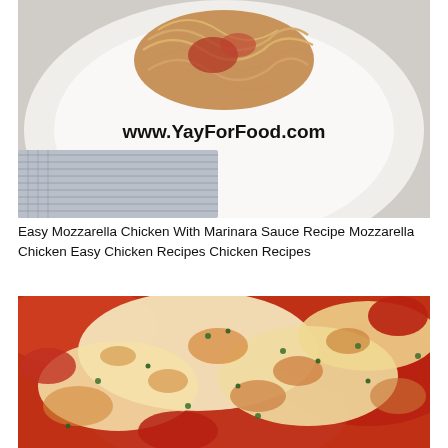[Figure (photo): Photo of spaghetti with marinara sauce on a white plate, with a striped cloth napkin underneath. Text overlay reads 'www.YayForFood.com' in bold black.]
Easy Mozzarella Chicken With Marinara Sauce Recipe Mozzarella Chicken Easy Chicken Recipes Chicken Recipes
[Figure (photo): Close-up photo of mozzarella chicken with marinara sauce in a pan, showing bubbly melted cheese with golden-brown spots and green herb garnish on top of a rich red tomato sauce.]